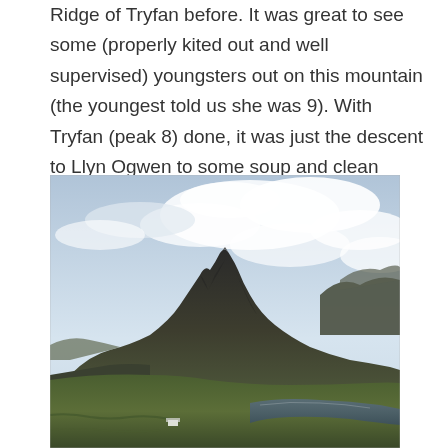Ridge of Tryfan before. It was great to see some (properly kited out and well supervised) youngsters out on this mountain (the youngest told us she was 9). With Tryfan (peak 8) done, it was just the descent to Llyn Ogwen to some soup and clean socks.
[Figure (photo): Landscape photograph of a mountain peak (Tryfan) with a rocky summit rising against a partly cloudy sky. Green grassy slopes in the foreground and a lake (Llyn Ogwen) visible at the base of the mountain.]